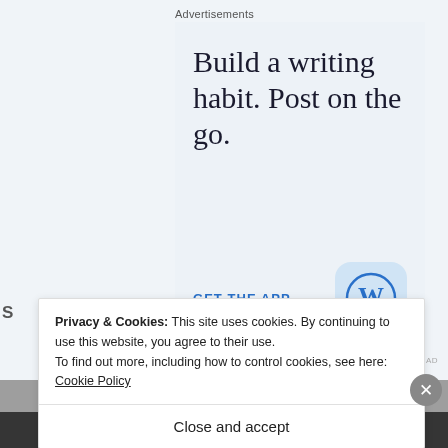Advertisements
[Figure (screenshot): WordPress app advertisement with text 'Build a writing habit. Post on the go.' and a GET THE APP call to action with WordPress logo icon on light blue background]
REPORT THIS AD
Privacy & Cookies: This site uses cookies. By continuing to use this website, you agree to their use.
To find out more, including how to control cookies, see here: Cookie Policy
Close and accept